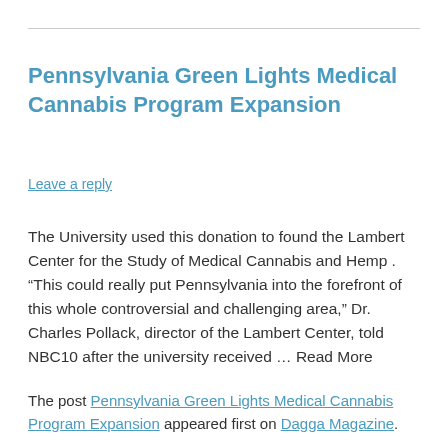Pennsylvania Green Lights Medical Cannabis Program Expansion
Leave a reply
The University used this donation to found the Lambert Center for the Study of Medical Cannabis and Hemp . “This could really put Pennsylvania into the forefront of this whole controversial and challenging area,” Dr. Charles Pollack, director of the Lambert Center, told NBC10 after the university received … Read More
The post Pennsylvania Green Lights Medical Cannabis Program Expansion appeared first on Dagga Magazine.